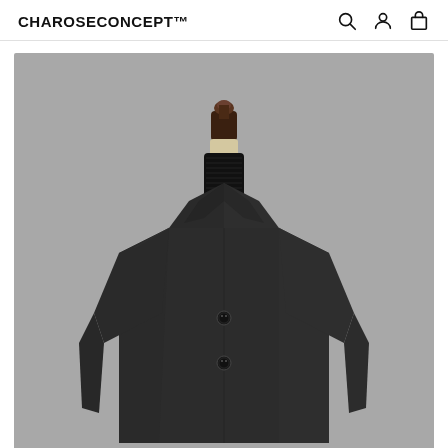CHAROSECONCEPT™
[Figure (photo): A dark charcoal grey men's wool overcoat displayed on a headless mannequin with a dark brown wooden stand. The coat features notched lapels, two buttons, and is paired with a black turtleneck sweater. The background is plain grey.]